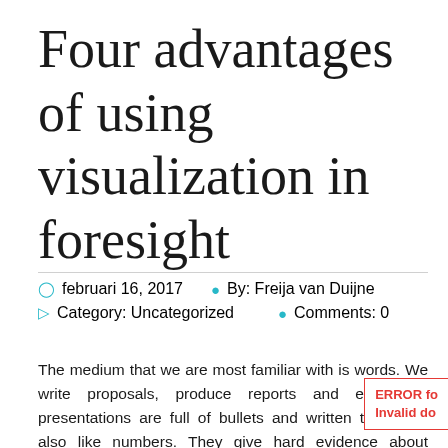Four advantages of using visualization in foresight
februari 16, 2017   By: Freija van Duijne   Category: Uncategorized   Comments: 0
The medium that we are most familiar with is words. We write proposals, produce reports and even our presentations are full of bullets and written texts. We also like numbers. They give hard evidence about measurable trends, indicators of a state or change over a time interval. Despite the value of indicators, there are no facts and data about the future. In our